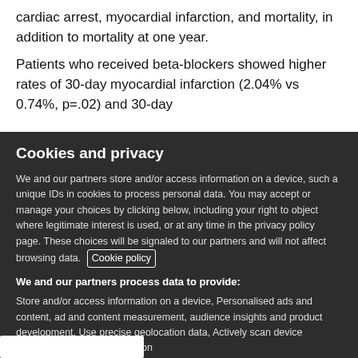cardiac arrest, myocardial infarction, and mortality, in addition to mortality at one year.
Patients who received beta-blockers showed higher rates of 30-day myocardial infarction (2.04% vs 0.74%, p=.02) and 30-day
Cookies and privacy
We and our partners store and/or access information on a device, such a unique IDs in cookies to process personal data. You may accept or manage your choices by clicking below, including your right to object where legitimate interest is used, or at any time in the privacy policy page. These choices will be signaled to our partners and will not affect browsing data. Cookie policy
We and our partners process data to provide:
Store and/or access information on a device, Personalised ads and content, ad and content measurement, audience insights and product development, Use precise geolocation data, Actively scan device characteristics for identification
List of Partners (vendors)